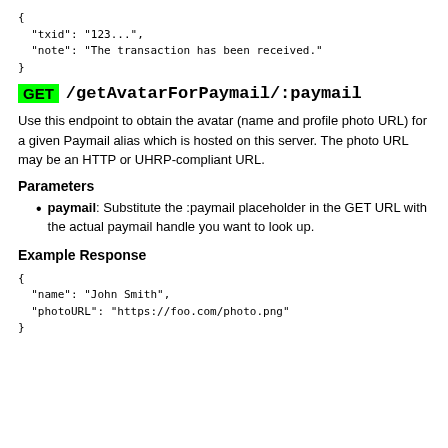{
  "txid": "123...",
  "note": "The transaction has been received."
}
GET /getAvatarForPaymail/:paymail
Use this endpoint to obtain the avatar (name and profile photo URL) for a given Paymail alias which is hosted on this server. The photo URL may be an HTTP or UHRP-compliant URL.
Parameters
paymail: Substitute the :paymail placeholder in the GET URL with the actual paymail handle you want to look up.
Example Response
{
  "name": "John Smith",
  "photoURL": "https://foo.com/photo.png"
}